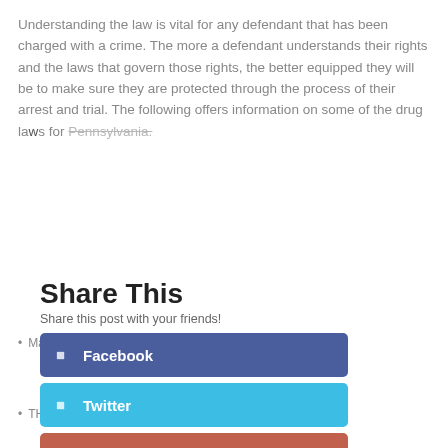Understanding the law is vital for any defendant that has been charged with a crime. The more a defendant understands their rights and the laws that govern those rights, the better equipped they will be to make sure they are protected through the process of their arrest and trial. The following offers information on some of the drug laws for Pennsylvania.
Share This
Share this post with your friends!
Marijuana – Possession of this drug carries a penalty of $500 to $5000 in fines and thirty days jail time.
THC – Possession of THC carries a maximum of 30 days of jail and a fine between $500 and $5000. Individuals could face up to a year in jail.
Felony Class Drugs – Possession of certain drugs such as meth, cocaine, and PCP carry stiffer penalties with up to $250,000 in fines and 25 years in jail.
Drug Paraphernalia – Being found in the possession of drug paraphernalia can lead to a $2500 fine and maximum jail time up to one year.
[Figure (infographic): Share This overlay panel with Facebook (dark blue), Twitter (light blue), Google+ (red), LinkedIn (teal), Like (salmon/red) social sharing buttons]